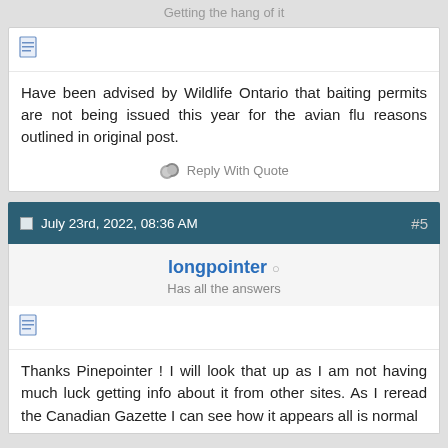Getting the hang of it
Have been advised by Wildlife Ontario that baiting permits are not being issued this year for the avian flu reasons outlined in original post.
Reply With Quote
July 23rd, 2022, 08:36 AM  #5
longpointer o
Has all the answers
Thanks Pinepointer ! I will look that up as I am not having much luck getting info about it from other sites. As I reread the Canadian Gazette I can see how it appears all is normal